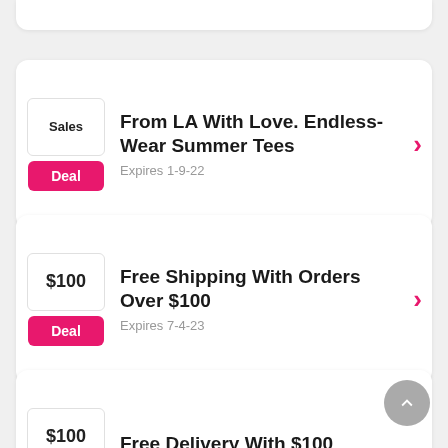[Figure (screenshot): Deals/coupons listing app screenshot showing three deal cards: 1) From LA With Love. Endless-Wear Summer Tees (Expires 1-9-22), 2) Free Shipping With Orders Over $100 (Expires 7-4-23), 3) Free Delivery With $100 (Expires 17-11-22). Each card has a badge column with label and pink Deal button, and a chevron arrow. A gray scroll-to-top button overlaps the third card.]